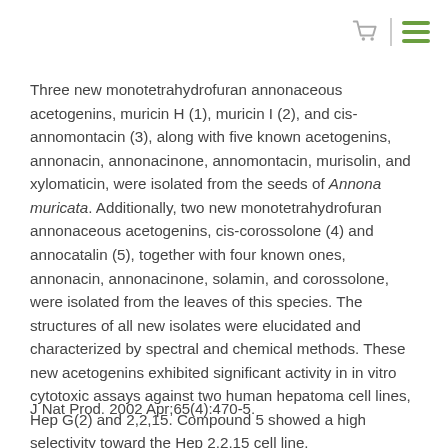Three new monotetrahydrofuran annonaceous acetogenins, muricin H (1), muricin I (2), and cis-annomontacin (3), along with five known acetogenins, annonacin, annonacinone, annomontacin, murisolin, and xylomaticin, were isolated from the seeds of Annona muricata. Additionally, two new monotetrahydrofuran annonaceous acetogenins, cis-corossolone (4) and annocatalin (5), together with four known ones, annonacin, annonacinone, solamin, and corossolone, were isolated from the leaves of this species. The structures of all new isolates were elucidated and characterized by spectral and chemical methods. These new acetogenins exhibited significant activity in in vitro cytotoxic assays against two human hepatoma cell lines, Hep G(2) and 2,2,15. Compound 5 showed a high selectivity toward the Hep 2,2,15 cell line.
J Nat Prod. 2002 Apr;65(4):470-5.